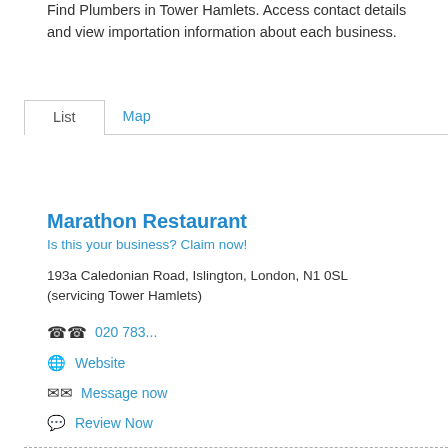Find Plumbers in Tower Hamlets. Access contact details and view importation information about each business.
List  Map
Marathon Restaurant
Is this your business? Claim now!
193a Caledonian Road, Islington, London, N1 0SL (servicing Tower Hamlets)
020 783...
Website
Message now
Review Now